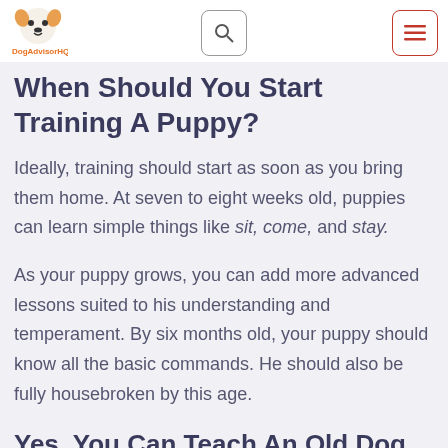DogAdvisorHQ logo, search button, menu button
When Should You Start Training A Puppy?
Ideally, training should start as soon as you bring them home. At seven to eight weeks old, puppies can learn simple things like sit, come, and stay.
As your puppy grows, you can add more advanced lessons suited to his understanding and temperament. By six months old, your puppy should know all the basic commands. He should also be fully housebroken by this age.
Yes, You Can Teach An Old Dog New